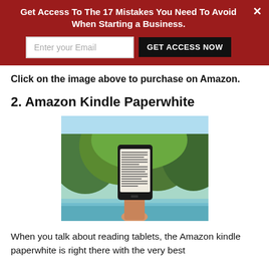Get Access To The 17 Mistakes You Need To Avoid When Starting a Business.
Click on the image above to purchase on Amazon.
2. Amazon Kindle Paperwhite
[Figure (photo): A hand holding an Amazon Kindle Paperwhite e-reader outdoors near a pool with green foliage in the background]
When you talk about reading tablets, the Amazon kindle paperwhite is right there with the very best